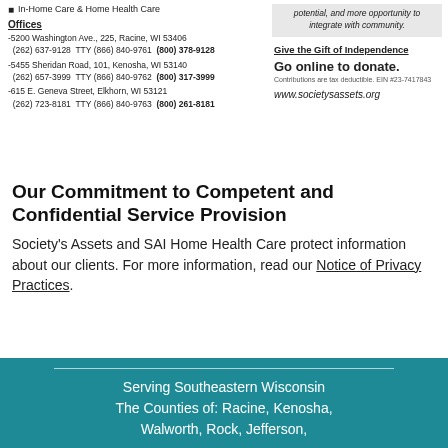In-Home Care & Home Health Care
Offices
-5200 Washington Ave., 225, Racine, WI 53406
  (262) 637-9128  TTY (866) 840-9761  (800) 378-9128
-5455 Sheridan Road, 101, Kenosha, WI 53140
  (262) 657-3999  TTY (866) 840-9762  (800) 317-3999
-615 E. Geneva Street, Elkhorn, WI 53121
  (262) 723-8181  TTY (866) 840-9763  (800) 261-8181
potential, and more opportunity to integrate with community.
Give the Gift of Independence
Go online to donate.
Contributions are tax deductible. EIN #23-7417843
www.societysassets.org
Our Commitment to Competent and Confidential Service Provision
Society's Assets and SAI Home Health Care protect information about our clients. For more information, read our Notice of Privacy Practices.
Serving Southeastern Wisconsin
The Counties of: Racine, Kenosha, Walworth, Rock, Jefferson,